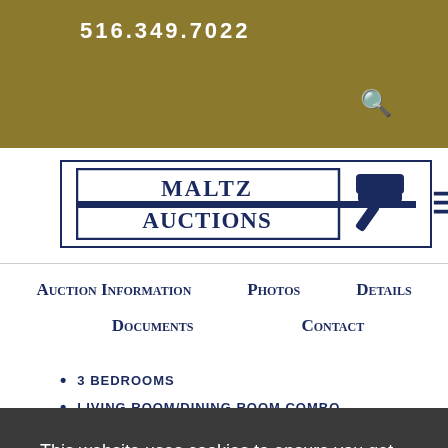516.349.7022
[Figure (logo): Maltz Auctions logo with gavel icon inside a rectangular border]
Auction Information   Photos   Details   Documents   Contact
3 Bedrooms
Living Room/Dining Room Combo
This website uses cookies to ensure you get the best experience on our website. Learn more
Annual Real Estate Taxes: Please See